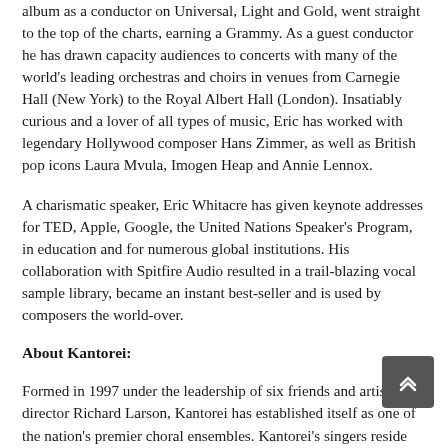album as a conductor on Universal, Light and Gold, went straight to the top of the charts, earning a Grammy. As a guest conductor he has drawn capacity audiences to concerts with many of the world's leading orchestras and choirs in venues from Carnegie Hall (New York) to the Royal Albert Hall (London). Insatiably curious and a lover of all types of music, Eric has worked with legendary Hollywood composer Hans Zimmer, as well as British pop icons Laura Mvula, Imogen Heap and Annie Lennox.
A charismatic speaker, Eric Whitacre has given keynote addresses for TED, Apple, Google, the United Nations Speaker's Program, in education and for numerous global institutions. His collaboration with Spitfire Audio resulted in a trail-blazing vocal sample library, became an instant best-seller and is used by composers the world-over.
About Kantorei:
Formed in 1997 under the leadership of six friends and artistic director Richard Larson, Kantorei has established itself as one of the nation's premier choral ensembles. Kantorei's singers reside throughout the greater Denver area. Some serve as choral music educators, church choir conductors, and vocal instructors. Others are doctors, social